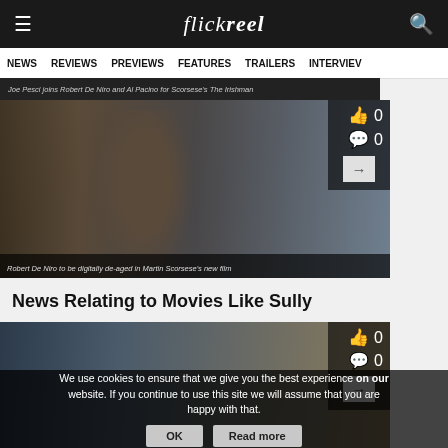flickreel
NEWS  REVIEWS  PREVIEWS  FEATURES  TRAILERS  INTERVIEWS
Joe Pesci joins Robert De Niro and Al Pacino for Scorsese's The Irishman
[Figure (photo): Robert De Niro digitally de-aged in Martin Scorsese's new film, street scene period setting]
Robert De Niro to be digitally de-aged in Martin Scorsese's new film
News Relating to Movies Like Sully
[Figure (photo): Partially visible bottom image strip with movie still]
We use cookies to ensure that we give you the best experience on our website. If you continue to use this site we will assume that you are happy with that.